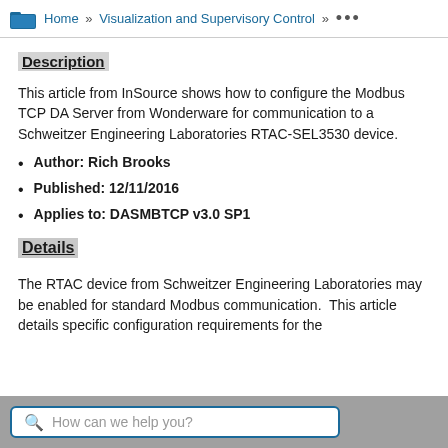Home » Visualization and Supervisory Control » ...
Description
This article from InSource shows how to configure the Modbus TCP DA Server from Wonderware for communication to a Schweitzer Engineering Laboratories RTAC-SEL3530 device.
Author: Rich Brooks
Published: 12/11/2016
Applies to: DASMBTCP v3.0 SP1
Details
The RTAC device from Schweitzer Engineering Laboratories may be enabled for standard Modbus communication.  This article details specific configuration requirements for the